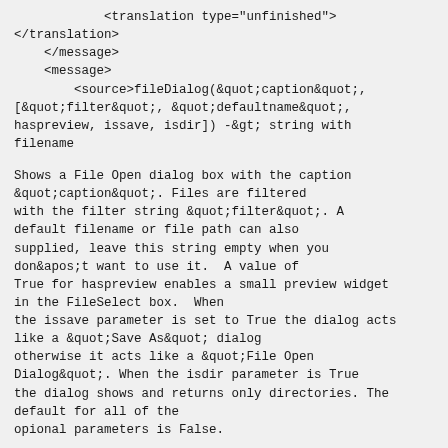<translation type="unfinished">
</translation>
    </message>
    <message>
        <source>fileDialog(&quot;caption&quot;, [&quot;filter&quot;, &quot;defaultname&quot;, haspreview, issave, isdir]) -&gt; string with filename
Shows a File Open dialog box with the caption &quot;caption&quot;. Files are filtered with the filter string &quot;filter&quot;. A default filename or file path can also supplied, leave this string empty when you don&apos;t want to use it.  A value of True for haspreview enables a small preview widget in the FileSelect box.  When the issave parameter is set to True the dialog acts like a &quot;Save As&quot; dialog otherwise it acts like a &quot;File Open Dialog&quot;. When the isdir parameter is True the dialog shows and returns only directories. The default for all of the opional parameters is False.
The filter, if specified, takes the form &apos;comment (* type * type2 ...)&apos;;